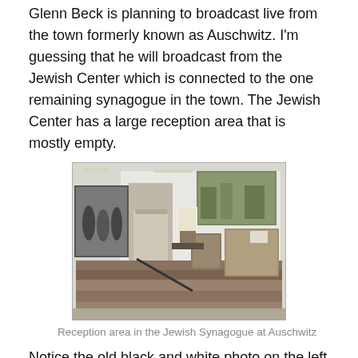Glenn Beck is planning to broadcast live from the town formerly known as Auschwitz.  I'm guessing that he will broadcast from the Jewish Center which is connected to the one remaining synagogue in the town.  The Jewish Center has a large reception area that is mostly empty.
[Figure (photo): Interior reception area of the Jewish Synagogue at Auschwitz, showing stairs, white walls with framed artwork and historical photographs, including a black and white photo on the left wall.]
Reception area in the Jewish Synagogue at Auschwitz
Notice the old black and white photo on the left in the picture.  The photo shows Jewish women drawing water